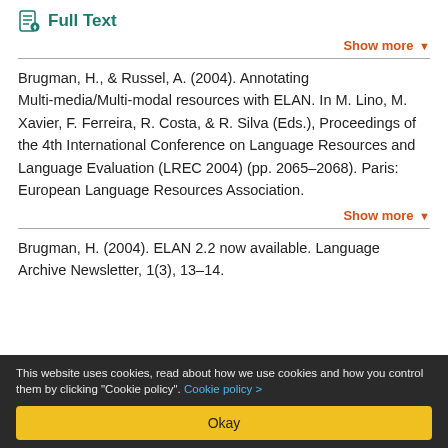Full Text
Show more ▾
Brugman, H., & Russel, A. (2004). Annotating Multi-media/Multi-modal resources with ELAN. In M. Lino, M. Xavier, F. Ferreira, R. Costa, & R. Silva (Eds.), Proceedings of the 4th International Conference on Language Resources and Language Evaluation (LREC 2004) (pp. 2065–2068). Paris: European Language Resources Association.
Show more ▾
Brugman, H. (2004). ELAN 2.2 now available. Language Archive Newsletter, 1(3), 13–14.
This website uses cookies, read about how we use cookies and how you control them by clicking "Cookie policy". Cookie policy >
Okay